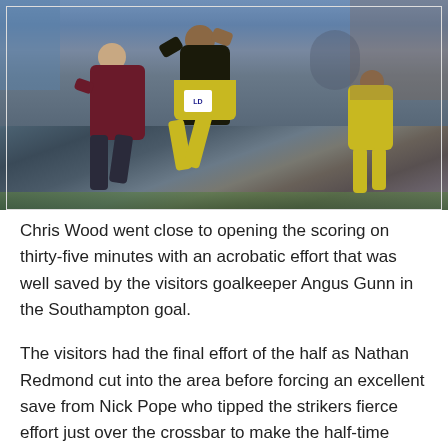[Figure (photo): Action photo of a football match. A Southampton player in black and yellow kit is jumping above a Burnley player in claret. A white football is visible to the left. Crowd is visible in the background.]
Chris Wood went close to opening the scoring on thirty-five minutes with an acrobatic effort that was well saved by the visitors goalkeeper Angus Gunn in the Southampton goal.
The visitors had the final effort of the half as Nathan Redmond cut into the area before forcing an excellent save from Nick Pope who tipped the strikers fierce effort just over the crossbar to make the half-time score 0-0.